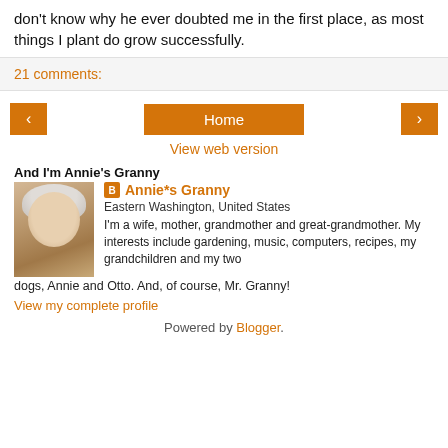don't know why he ever doubted me in the first place, as most things I plant do grow successfully.
21 comments:
[Figure (screenshot): Navigation buttons: left arrow, Home, right arrow]
View web version
And I'm Annie's Granny
[Figure (photo): Profile photo of Annie's Granny, an older woman with white hair and glasses]
Annie*s Granny
Eastern Washington, United States
I'm a wife, mother, grandmother and great-grandmother. My interests include gardening, music, computers, recipes, my grandchildren and my two dogs, Annie and Otto. And, of course, Mr. Granny!
View my complete profile
Powered by Blogger.